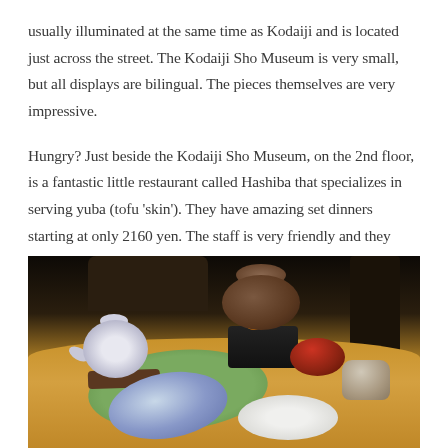usually illuminated at the same time as Kodaiji and is located just across the street.  The Kodaiji Sho Museum is very small, but all displays are bilingual. The pieces themselves are very impressive.
Hungry? Just beside the Kodaiji Sho Museum, on the 2nd floor, is a fantastic little restaurant called Hashiba that specializes in serving yuba (tofu 'skin'). They have amazing set dinners starting at only 2160 yen. The staff is very friendly and they have an English menu with good descriptions. I love this place!
[Figure (photo): A Japanese restaurant table set with multiple dishes including a blue-and-white teapot, a clay hot pot on a small stove burner, a red bowl, a tea cup, a blue dish with food, and a white plate with food items, arranged on a warm wooden table.]